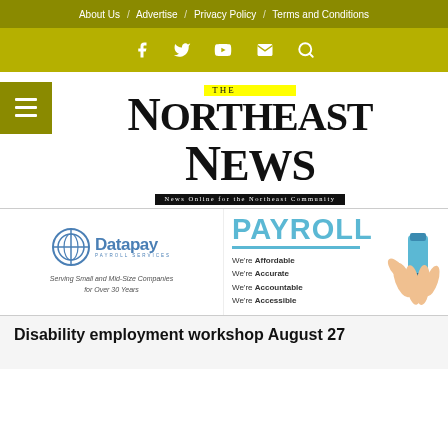About Us / Advertise / Privacy Policy / Terms and Conditions
[Figure (other): Social media icons bar: Facebook, Twitter, YouTube, Email, Search on olive/gold background]
[Figure (logo): The Northeast News logo — large serif text with yellow highlight on THE, tagline: News Online for the Northeast Community]
[Figure (logo): Datapay Payroll Services ad — circular logo, text: Serving Small and Mid-Size Companies for Over 30 Years]
[Figure (other): PAYROLL ad with text: We're Affordable, We're Accurate, We're Accountable, We're Accessible, and a hand holding a marker]
Disability employment workshop August 27